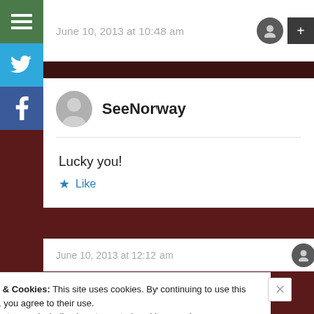[Figure (screenshot): Website comment section screenshot with sidebar social buttons (menu, Twitter, Facebook), a comment by SeeNorway saying 'Lucky you!' dated June 10 2013 at 10:48 am, and a cookie consent banner at the bottom]
June 10, 2013 at 10:48 am
SeeNorway
Lucky you!
Like
June 10, 2013 at 12:12 am
Privacy & Cookies: This site uses cookies. By continuing to use this website, you agree to their use.
To find out more, including how to control cookies, see here:
Cookie Policy
Close and accept